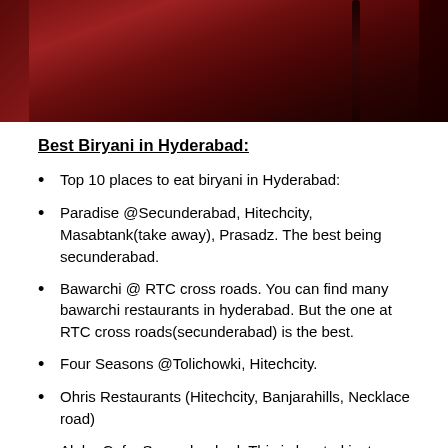[Figure (photo): A dark reddish-brown photo, appears to show a dimly lit scene with warm red tones, possibly an outdoor or indoor venue at night.]
Best Biryani in Hyderabad:
Top 10 places to eat biryani in Hyderabad:
Paradise @Secunderabad, Hitechcity, Masabtank(take away), Prasadz. The best being secunderabad.
Bawarchi @ RTC cross roads. You can find many bawarchi restaurants in hyderabad. But the one at RTC cross roads(secunderabad) is the best.
Four Seasons @Tolichowki, Hitechcity.
Ohris Restaurants (Hitechcity, Banjarahills, Necklace road)
Alpha Cafe, Secunderabad. This is located just opposite to secunderabad railway station. Most of the people dont prefer this place because of the location and crowd. But